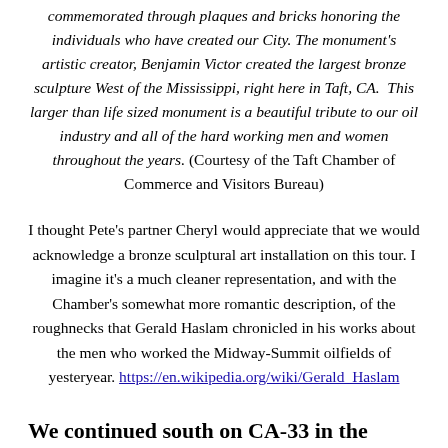commemorated through plaques and bricks honoring the individuals who have created our City. The monument's artistic creator, Benjamin Victor created the largest bronze sculpture West of the Mississippi, right here in Taft, CA.  This larger than life sized monument is a beautiful tribute to our oil industry and all of the hard working men and women throughout the years. (Courtesy of the Taft Chamber of Commerce and Visitors Bureau)
I thought Pete's partner Cheryl would appreciate that we would acknowledge a bronze sculptural art installation on this tour. I imagine it's a much cleaner representation, and with the Chamber's somewhat more romantic description, of the roughnecks that Gerald Haslam chronicled in his works about the men who worked the Midway-Summit oilfields of yesteryear. https://en.wikipedia.org/wiki/Gerald_Haslam
We continued south on CA-33 in the heart of the westside oil country in route to Maricopa where